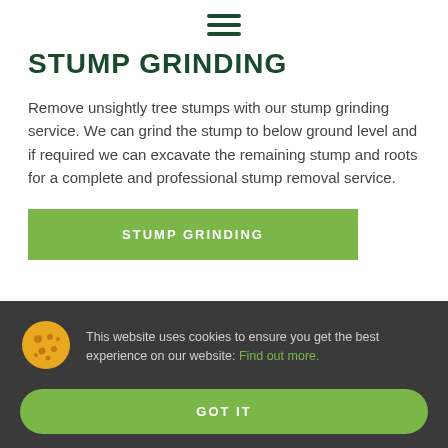[Figure (other): Hamburger menu icon with three horizontal dark green lines]
STUMP GRINDING
Remove unsightly tree stumps with our stump grinding service. We can grind the stump to below ground level and if required we can excavate the remaining stump and roots for a complete and professional stump removal service.
STUMP GRINDING
This website uses cookies to ensure you get the best experience on our website: Find out more.
GOT IT